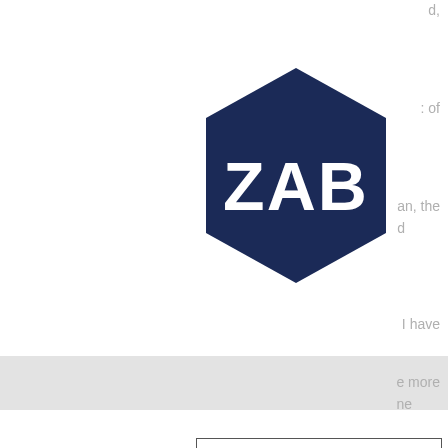[Figure (logo): Dark navy blue hexagon logo with white bold text 'ZAB' centered inside]
d,
: of
an, the
d
I have
[Figure (other): Light gray navigation bar with hamburger menu icon (three horizontal lines) on the right side]
e more
ne
led.
ls, he
ill help
[Figure (other): Contact button with border outline]
less
you are there.
“I want to meet this woman and get to know her better. The only way to do that is to read her books.”